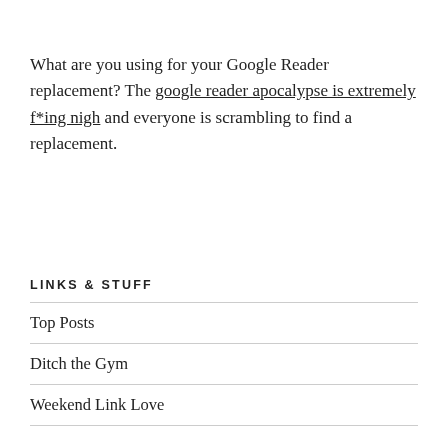What are you using for your Google Reader replacement? The google reader apocalypse is extremely f*ing nigh and everyone is scrambling to find a replacement.
LINKS & STUFF
Top Posts
Ditch the Gym
Weekend Link Love